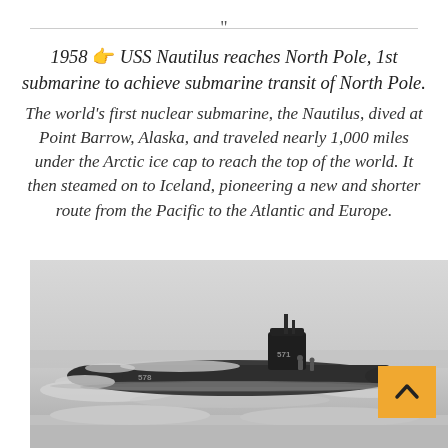“
1958 👉 USS Nautilus reaches North Pole, 1st submarine to achieve submarine transit of North Pole.
The world’s first nuclear submarine, the Nautilus, dived at Point Barrow, Alaska, and traveled nearly 1,000 miles under the Arctic ice cap to reach the top of the world. It then steamed on to Iceland, pioneering a new and shorter route from the Pacific to the Atlantic and Europe.
[Figure (photo): Black and white photograph of the USS Nautilus submarine (numbered 578/571) surfaced at the Arctic ice cap, with crew members visible on the deck and snow/ice surrounding the vessel.]